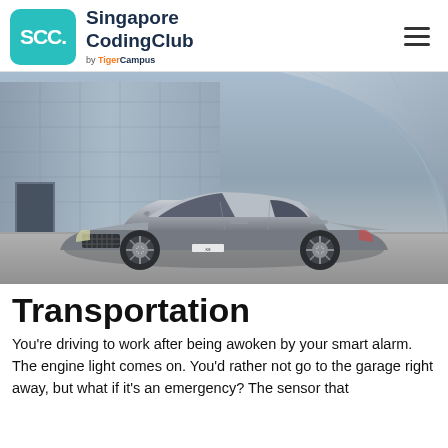Singapore CodingClub by TigerCampus
[Figure (photo): A silver/grey Kia K8 sedan photographed in front of a modern architectural building with curved metallic panels, parked on a grey surface.]
Transportation
You're driving to work after being awoken by your smart alarm. The engine light comes on. You'd rather not go to the garage right away, but what if it's an emergency? The sensor that